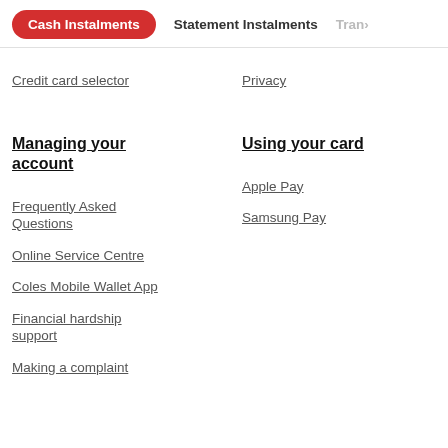Cash Instalments | Statement Instalments | Tran>
Credit card selector
Privacy
Managing your account
Using your card
Frequently Asked Questions
Apple Pay
Online Service Centre
Samsung Pay
Coles Mobile Wallet App
Financial hardship support
Making a complaint